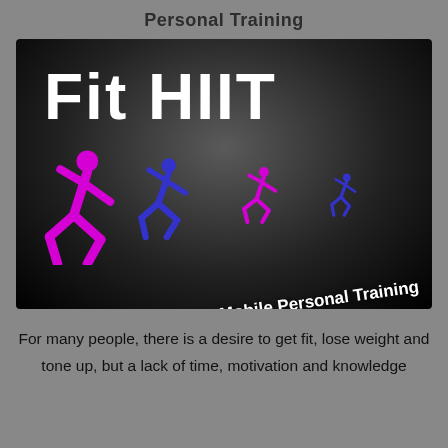Personal Training
[Figure (logo): Fit HIIT Mobile Personal Training logo on dark background with running figure icons in magenta and blue, decreasing in size left to right.]
For many people, there is a desire to get fit, lose weight and tone up, but a lack of time, motivation and knowledge